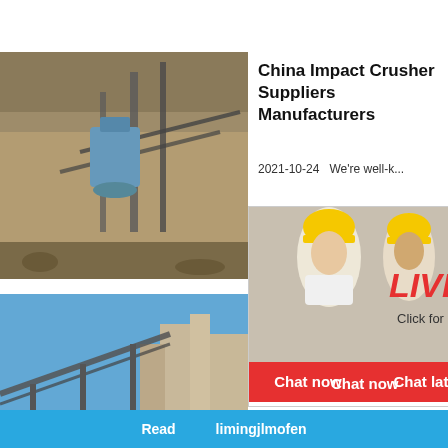[Figure (photo): Industrial quarry / mining plant with crushers and conveyor belts, outdoor rocky terrain]
China Impact Crusher Suppliers Manufacturers
2021-10-24   We're well-k...
[Figure (photo): Live Chat popup with engineer workers in yellow hard hats; red LIVE CHAT text and 'Click for a Free Consultation']
Chat now
Chat later
[Figure (photo): Industrial plant with blue sky, conveyor belts and silos]
Impact Parker
2021-11-...
[Figure (photo): White cone crusher machine on blue background]
hour online
Click me to chat>>
Enquiry
Read   limingjlmofen